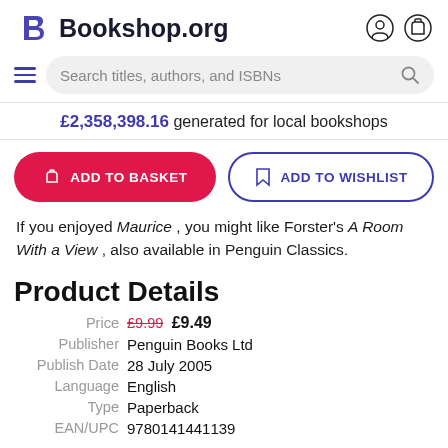Bookshop.org
Search titles, authors, and ISBNs
£2,358,398.16 generated for local bookshops
ADD TO BASKET
ADD TO WISHLIST
If you enjoyed Maurice , you might like Forster's A Room With a View , also available in Penguin Classics.
Product Details
| Label | Value |
| --- | --- |
| Price | £9.99  £9.49 |
| Publisher | Penguin Books Ltd |
| Publish Date | 28 July 2005 |
| Language | English |
| Type | Paperback |
| EAN/UPC | 9780141441139 |